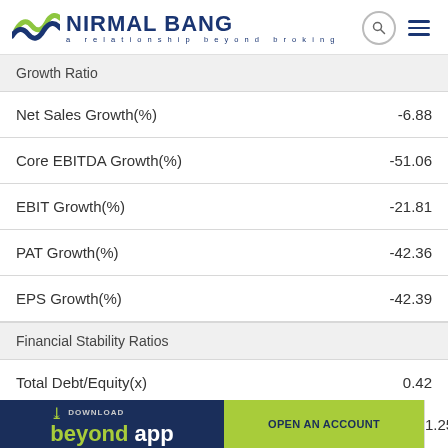NIRMAL BANG – a relationship beyond broking
Growth Ratio
| Metric | Value |
| --- | --- |
| Net Sales Growth(%) | -6.88 |
| Core EBITDA Growth(%) | -51.06 |
| EBIT Growth(%) | -21.81 |
| PAT Growth(%) | -42.36 |
| EPS Growth(%) | -42.39 |
Financial Stability Ratios
| Metric | Value |
| --- | --- |
| Total Debt/Equity(x) | 0.42 |
|  | 1.25 |